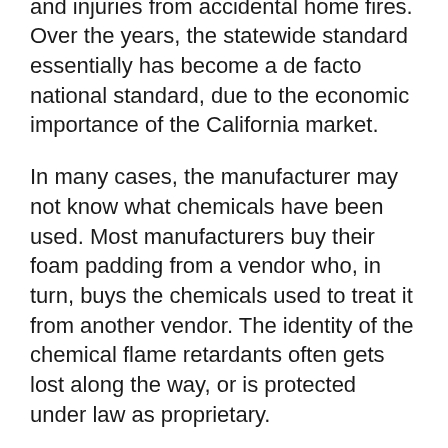without igniting, to help reduce deaths and injuries from accidental home fires. Over the years, the statewide standard essentially has become a de facto national standard, due to the economic importance of the California market.
In many cases, the manufacturer may not know what chemicals have been used. Most manufacturers buy their foam padding from a vendor who, in turn, buys the chemicals used to treat it from another vendor. The identity of the chemical flame retardants often gets lost along the way, or is protected under law as proprietary.
Stapleton and her colleagues analyzed 102